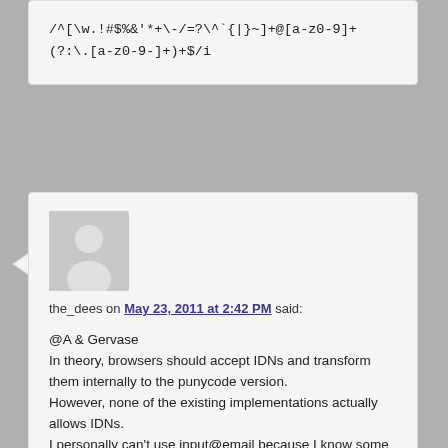/^[\w.!#$%&'*+\-/=?\^`{|}~]+@[a-z0-9]+(?\.)[a-z0-9-]+)+$/i
the_dees on May 23, 2011 at 2:42 PM said:
@A & Gervase
In theory, browsers should accept IDNs and transform them internally to the punycode version.
However, none of the existing implementations actually allows IDNs. I personally can't use input@email because I know some of our users have IDN e-mail addresses. I don't want to exclude potential customers either.